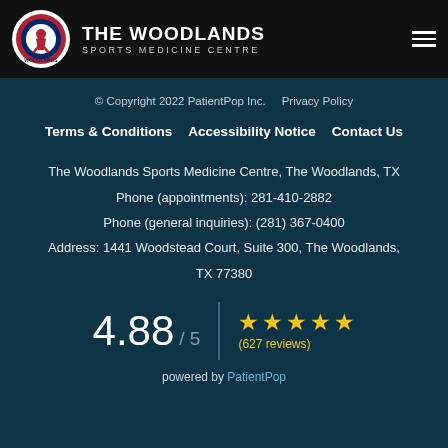[Figure (logo): The Woodlands Sports Medicine Centre logo — circular badge with hockey player silhouette, American flag colors, red/white/blue, with organization name to the right]
THE WOODLANDS SPORTS MEDICINE CENTRE
© Copyright 2022 PatientPop Inc.    Privacy Policy
Terms & Conditions    Accessibility Notice    Contact Us
The Woodlands Sports Medicine Centre, The Woodlands, TX
Phone (appointments): 281-410-2882
Phone (general inquiries): (281) 367-0400
Address: 1441 Woodstead Court, Suite 300, The Woodlands, TX 77380
4.88 / 5  ★★★★★  (627 reviews)
powered by PatientPop